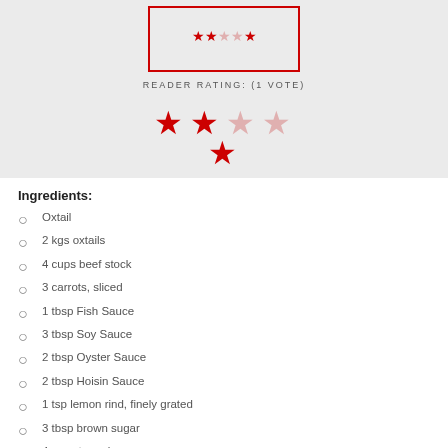[Figure (other): Star rating widget in a red-bordered box showing 2.5 out of 5 stars (small size)]
READER RATING: (1 VOTE)
[Figure (other): Star rating widget showing 2.5 out of 5 stars (large size, reader rating display)]
Ingredients:
Oxtail
2 kgs oxtails
4 cups beef stock
3 carrots, sliced
1 tbsp Fish Sauce
3 tbsp Soy Sauce
2 tbsp Oyster Sauce
2 tbsp Hoisin Sauce
1 tsp lemon rind, finely grated
3 tbsp brown sugar
4 pcs star anise